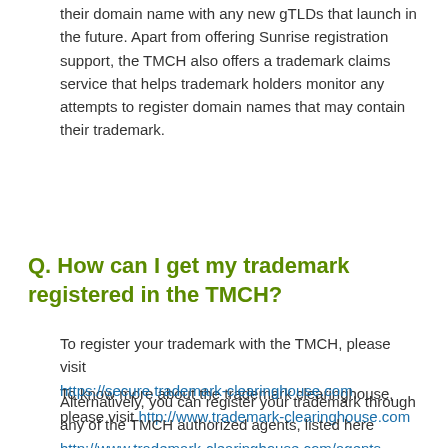their domain name with any new gTLDs that launch in the future. Apart from offering Sunrise registration support, the TMCH also offers a trademark claims service that helps trademark holders monitor any attempts to register domain names that may contain their trademark.
To know more about the trademark clearinghouse, please visit http://www.trademark-clearinghouse.com
Q. How can I get my trademark registered in the TMCH?
To register your trademark with the TMCH, please visit https://secure.trademark-clearinghouse.com
Alternatively, you can register your trademark through any of the TMCH authorized agents, listed here http://www.trademark-clearinghouse.com/agents